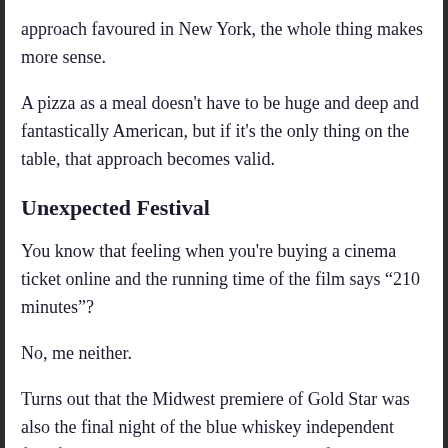approach favoured in New York, the whole thing makes more sense.
A pizza as a meal doesn't have to be huge and deep and fantastically American, but if it's the only thing on the table, that approach becomes valid.
Unexpected Festival
You know that feeling when you're buying a cinema ticket online and the running time of the film says “210 minutes”?
No, me neither.
Turns out that the Midwest premiere of Gold Star was also the final night of the blue whiskey independent film festival, which had been showcasing films every night for a week. It wasn’t the first time I’ve